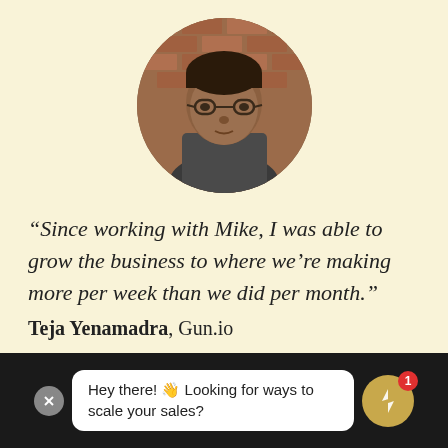[Figure (photo): Circular profile photo of a man with glasses wearing a dark shirt, with a brick wall background]
“Since working with Mike, I was able to grow the business to where we’re making more per week than we did per month.”
Teja Yenamadra, Gun.io
Hey there! 👋 Looking for ways to scale your sales?